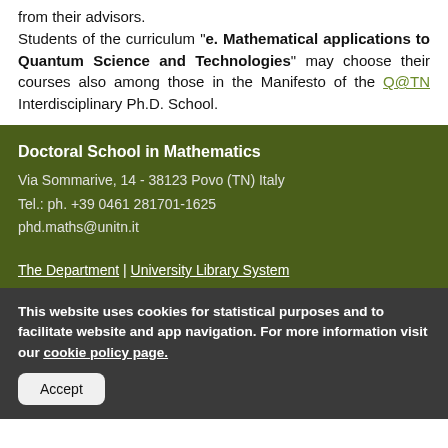from their advisors. Students of the curriculum "e. Mathematical applications to Quantum Science and Technologies" may choose their courses also among those in the Manifesto of the Q@TN Interdisciplinary Ph.D. School.
Doctoral School in Mathematics
Via Sommarive, 14 - 38123 Povo (TN) Italy
Tel.: ph. +39 0461 281701-1625
phd.maths@unitn.it
The Department | University Library System
This website uses cookies for statistical purposes and to facilitate website and app navigation. For more information visit our cookie policy page.